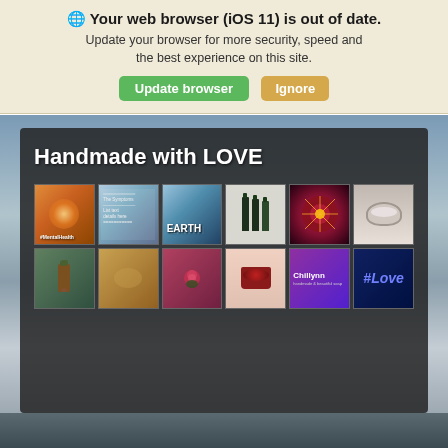🌐 Your web browser (iOS 11) is out of date. Update your browser for more security, speed and the best experience on this site. [Update browser] [Ignore]
[Figure (screenshot): A website screenshot showing a browser update warning banner at the top with 'Your web browser (iOS 11) is out of date.' message, green 'Update browser' button and tan 'Ignore' button. Below is a dark panel overlay on a mountain/cloudy sky background, with the text 'Handmade with LOVE' and a 2-row grid of 12 product images including health/wellness, essential oil, tea, handmade soap products.]